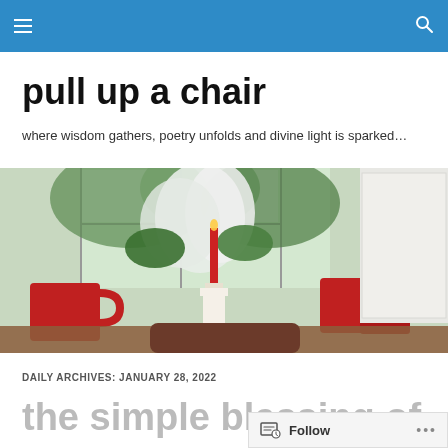pull up a chair — navigation header with menu and search icons
pull up a chair
where wisdom gathers, poetry unfolds and divine light is sparked…
[Figure (photo): A cozy kitchen table scene with red mugs, a red candle on a white candlestick, white hydrangea flowers, and a wooden chair back visible in the foreground. A window with natural light is in the background.]
DAILY ARCHIVES: JANUARY 28, 2022
the simple blessing of…